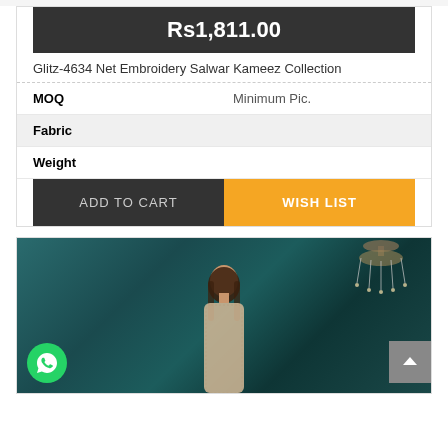Rs1,811.00
Glitz-4634 Net Embroidery Salwar Kameez Collection
| MOQ | Minimum Pic. |
| Fabric |  |
| Weight |  |
ADD TO CART   WISH LIST
[Figure (photo): A woman model wearing an embroidered salwar kameez against a dark teal textured wall background with a chandelier visible in the upper right. A green WhatsApp button is visible in the lower left corner and a grey scroll-to-top button in the lower right.]